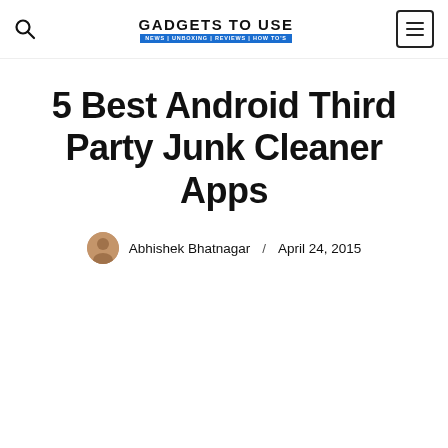GADGETS TO USE | NEWS | UNBOXING | REVIEWS | HOW TO'S
5 Best Android Third Party Junk Cleaner Apps
Abhishek Bhatnagar / April 24, 2015